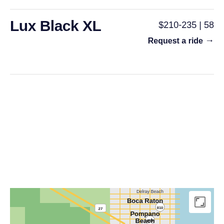Lux Black XL
$210-235 | 58
Request a ride →
Request a ride
[Figure (map): Map showing Delray Beach, Boca Raton (with route 810), and Pompano Beach area in South Florida. Route 27 and 869 visible. Coastal area with grid streets and highway 810.]